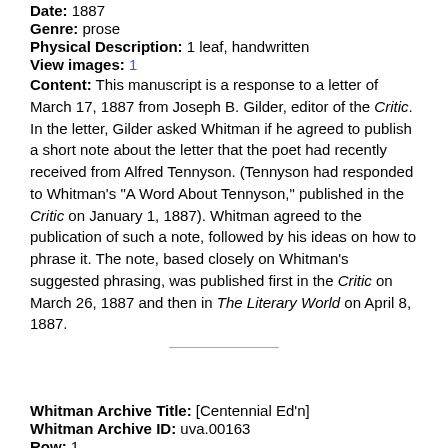Date: 1887
Genre: prose
Physical Description: 1 leaf, handwritten
View images: 1
Content: This manuscript is a response to a letter of March 17, 1887 from Joseph B. Gilder, editor of the Critic. In the letter, Gilder asked Whitman if he agreed to publish a short note about the letter that the poet had recently received from Alfred Tennyson. (Tennyson had responded to Whitman's "A Word About Tennyson," published in the Critic on January 1, 1887). Whitman agreed to the publication of such a note, followed by his ideas on how to phrase it. The note, based closely on Whitman's suggested phrasing, was published first in the Critic on March 26, 1887 and then in The Literary World on April 8, 1887.
Whitman Archive Title: [Centennial Ed'n]
Whitman Archive ID: uva.00163
Row: 1